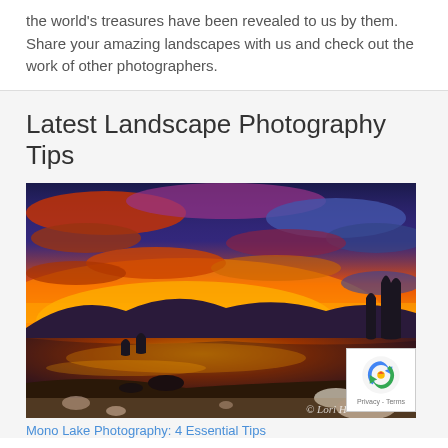the world's treasures have been revealed to us by them. Share your amazing landscapes with us and check out the work of other photographers.
Latest Landscape Photography Tips
[Figure (photo): Dramatic sunset landscape photograph of Mono Lake with vivid orange and red sky, silhouetted rock formations (tufa towers) and mountains, calm reflective water, and rocky shoreline in the foreground. Watermark reads '© Lori H']
Mono Lake Photography: 4 Essential Tips